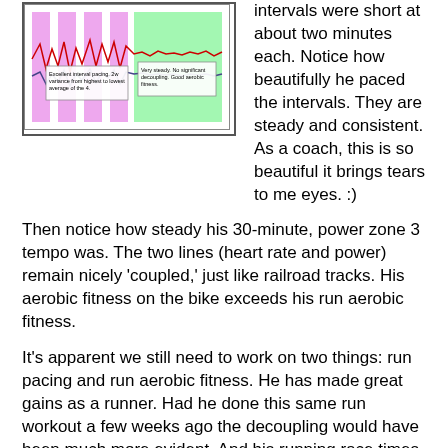[Figure (continuous-plot): A training analysis chart with pink/magenta vertical bars (intervals) and a green shaded section (tempo), with heart rate and power lines. Annotations read: 'Excellent interval pacing. 2w variance from highest to lowest average of the 4.' and 'Very steady. No significant decoupling. Good aerobic fitness.']
intervals were short at about two minutes each. Notice how beautifully he paced the intervals. They are steady and consistent. As a coach, this is so beautiful it brings tears to me eyes. :)
Then notice how steady his 30-minute, power zone 3 tempo was. The two lines (heart rate and power) remain nicely 'coupled,' just like railroad tracks. His aerobic fitness on the bike exceeds his run aerobic fitness.
It's apparent we still need to work on two things: run pacing and run aerobic fitness. He has made great gains as a runner. Had he done this same run workout a few weeks ago the decoupling would have been much more evident. And his running race times at 5km indicate that his is indeed making great...